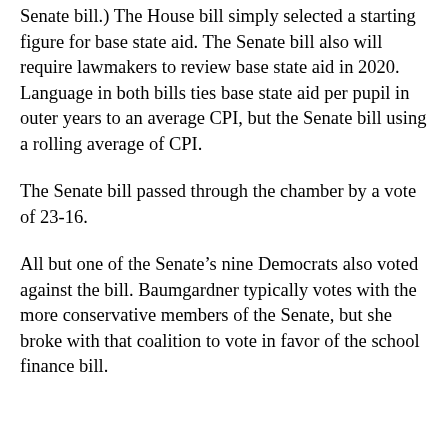Senate bill.) The House bill simply selected a starting figure for base state aid. The Senate bill also will require lawmakers to review base state aid in 2020. Language in both bills ties base state aid per pupil in outer years to an average CPI, but the Senate bill using a rolling average of CPI.
The Senate bill passed through the chamber by a vote of 23-16.
All but one of the Senate’s nine Democrats also voted against the bill. Baumgardner typically votes with the more conservative members of the Senate, but she broke with that coalition to vote in favor of the school finance bill.